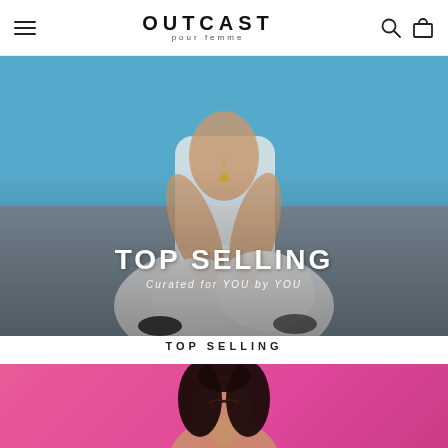OUTCAST
pour femme
[Figure (photo): Fashion photo of a woman in white crop top and wide-leg white pants seated on a grey/blue background, wearing black sneakers with gold necklace. Overlay text: TOP SELLING / Curated for YOU by YOU]
TOP SELLING
[Figure (photo): Fashion photo of a woman with dark hair on a pink/magenta background, cropped to show upper body]